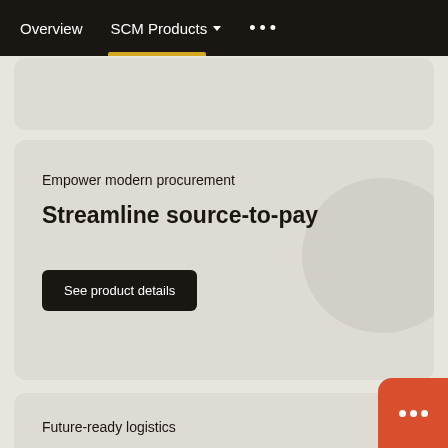Overview  SCM Products  ...
Empower modern procurement
Streamline source-to-pay
See product details
Future-ready logistics
Transportation management